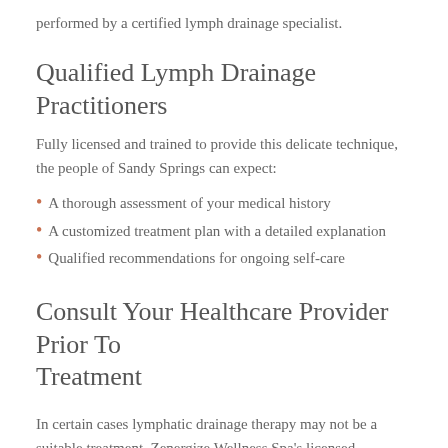performed by a certified lymph drainage specialist.
Qualified Lymph Drainage Practitioners
Fully licensed and trained to provide this delicate technique, the people of Sandy Springs can expect:
A thorough assessment of your medical history
A customized treatment plan with a detailed explanation
Qualified recommendations for ongoing self-care
Consult Your Healthcare Provider Prior To Treatment
In certain cases lymphatic drainage therapy may not be a suitable treatment. Zenergize Wellness Spa's licensed